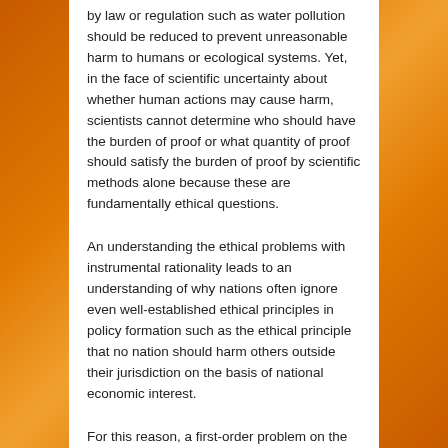by law or regulation such as water pollution should be reduced to prevent unreasonable harm to humans or ecological systems. Yet, in the face of scientific uncertainty about whether human actions may cause harm, scientists cannot determine who should have the burden of proof or what quantity of proof should satisfy the burden of proof by scientific methods alone because these are fundamentally ethical questions.
An understanding the ethical problems with instrumental rationality leads to an understanding of why nations often ignore even well-established ethical principles in policy formation such as the ethical principle that no nation should harm others outside their jurisdiction on the basis of national economic interest.
For this reason, a first-order problem on the road to a world which formulates policies guided by ethical principles is to open policy formation controversies to express consideration of ethical issues. This goal requires that those engaged in policy formation spot and identify